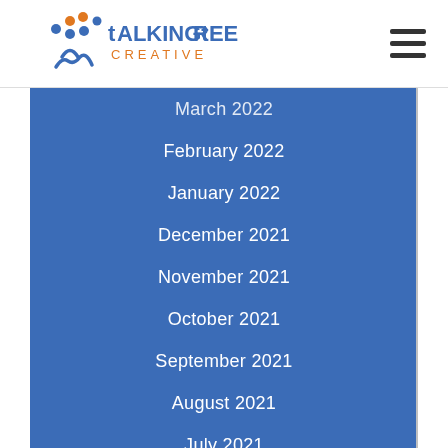Talking Tree Creative
March 2022
February 2022
January 2022
December 2021
November 2021
October 2021
September 2021
August 2021
July 2021
January 2021
December 2020